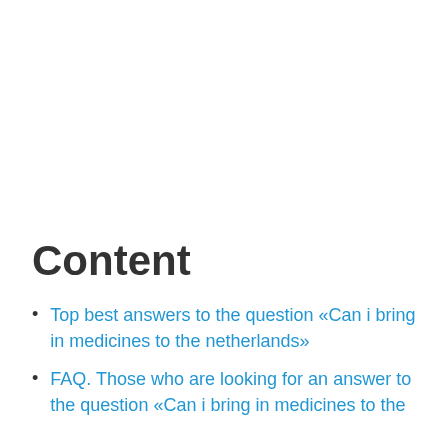Content
Top best answers to the question «Can i bring in medicines to the netherlands»
FAQ. Those who are looking for an answer to the question «Can i bring in medicines to the netherlands» often ask the following questions